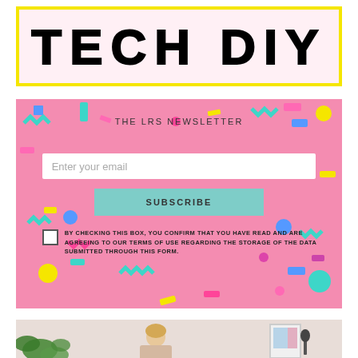TECH DIY
THE LRS NEWSLETTER
Enter your email
SUBSCRIBE
BY CHECKING THIS BOX, YOU CONFIRM THAT YOU HAVE READ AND ARE AGREEING TO OUR TERMS OF USE REGARDING THE STORAGE OF THE DATA SUBMITTED THROUGH THIS FORM.
[Figure (photo): A person with blonde hair sitting in a bright room with a plant on the left and a framed poster on the right.]